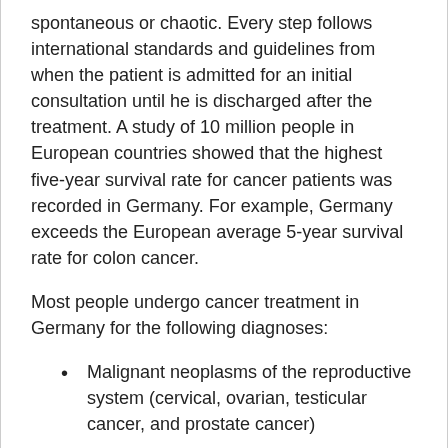spontaneous or chaotic. Every step follows international standards and guidelines from when the patient is admitted for an initial consultation until he is discharged after the treatment. A study of 10 million people in European countries showed that the highest five-year survival rate for cancer patients was recorded in Germany. For example, Germany exceeds the European average 5-year survival rate for colon cancer.
Most people undergo cancer treatment in Germany for the following diagnoses:
Malignant neoplasms of the reproductive system (cervical, ovarian, testicular cancer, and prostate cancer)
Breast cancer
Malignant neoplasms of the musculoskeletal system